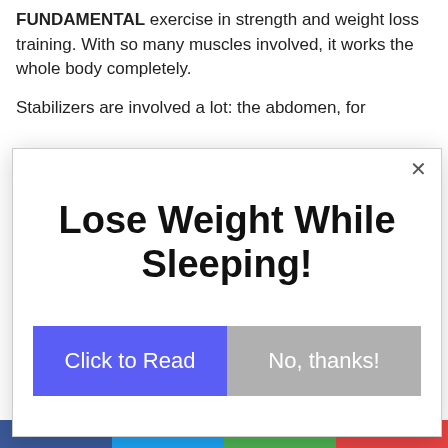FUNDAMENTAL exercise in strength and weight loss training. With so many muscles involved, it works the whole body completely.
Stabilizers are involved a lot: the abdomen, for
[Figure (screenshot): Modal popup dialog with title 'Lose Weight While Sleeping!', a blue 'Click to Read' button and a grey 'No, thanks!' button, with an X close button in the top right corner.]